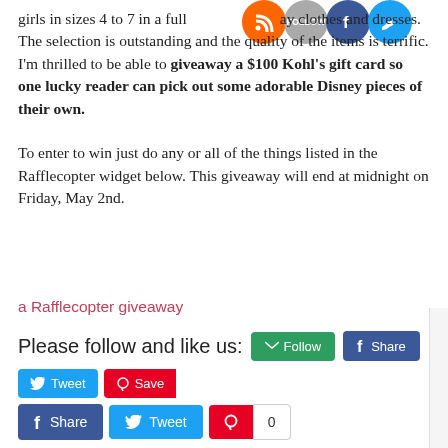girls in sizes 4 to 7 in a full range of cute everyday clothes and dresses. The selection is outstanding and the quality of the items is terrific. I'm thrilled to be able to giveaway a $100 Kohl's gift card so one lucky reader can pick out some adorable Disney pieces of their own.
To enter to win just do any or all of the things listed in the Rafflecopter widget below. This giveaway will end at midnight on Friday, May 2nd.
a Rafflecopter giveaway
Please follow and like us: